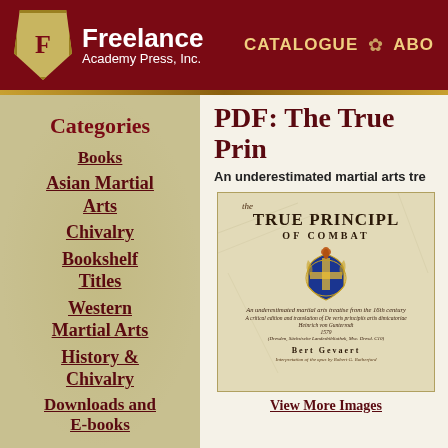Freelance Academy Press, Inc. | CATALOGUE | ABOUT
Categories
Books
Asian Martial Arts
Chivalry
Bookshelf Titles
Western Martial Arts
History & Chivalry
Downloads and E-books
PDF: The True Principles of Combat
An underestimated martial arts treatise from the 16th century
[Figure (illustration): Book cover of 'The True Principles of Combat' by Bert Gevaert, showing a coat of arms with a bird on top, text describing it as an underestimated martial arts treatise from the 16th century, a critical edition and translation of De veris principiis artis dimicatoriae by Heinrich von Gunterrodt 1579]
View More Images